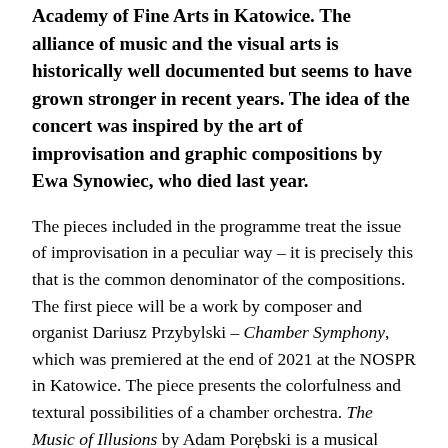Academy of Fine Arts in Katowice. The alliance of music and the visual arts is historically well documented but seems to have grown stronger in recent years. The idea of the concert was inspired by the art of improvisation and graphic compositions by Ewa Synowiec, who died last year.
The pieces included in the programme treat the issue of improvisation in a peculiar way – it is precisely this that is the common denominator of the compositions. The first piece will be a work by composer and organist Dariusz Przybylski – Chamber Symphony, which was premiered at the end of 2021 at the NOSPR in Katowice. The piece presents the colorfulness and textural possibilities of a chamber orchestra. The Music of Illusions by Adam Porębski is a musical adaptation of the phenomenon of illusion. The composer uses an original technique consisting in controlled performance gestures, thus creating visual and auditory